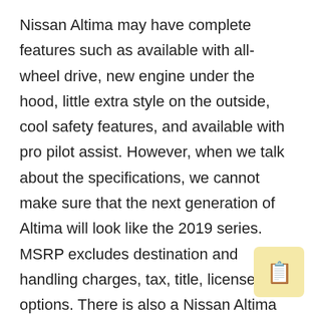Nissan Altima may have complete features such as available with all-wheel drive, new engine under the hood, little extra style on the outside, cool safety features, and available with pro pilot assist. However, when we talk about the specifications, we cannot make sure that the next generation of Altima will look like the 2019 series. MSRP excludes destination and handling charges, tax, title, license, and options. There is also a Nissan Altima series that is no longer use 3500 ccs V6 engine and replaced with 2.00 cc turbo. Even though we have no idea when this new Nissan Altima will be released, we may assume that Nissan will not give a significant change to its design. The fact is that the maker is still planning the production. Talking about a new car, you must be thinking that Nissan Altima 2020 will be more expensive than the